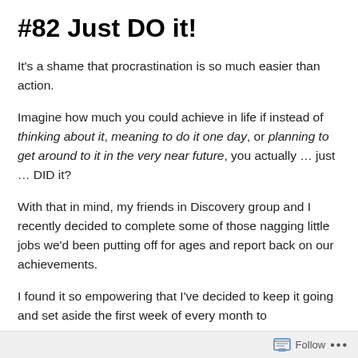#82 Just DO it!
It's a shame that procrastination is so much easier than action.
Imagine how much you could achieve in life if instead of thinking about it, meaning to do it one day, or planning to get around to it in the very near future, you actually … just … DID it?
With that in mind, my friends in Discovery group and I recently decided to complete some of those nagging little jobs we'd been putting off for ages and report back on our achievements.
I found it so empowering that I've decided to keep it going and set aside the first week of every month to
Follow